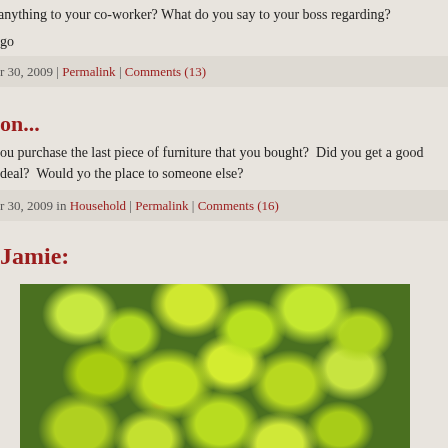anything to your co-worker? What do you say to your boss regarding?
go
r 30, 2009 | Permalink | Comments (13)
on...
ou purchase the last piece of furniture that you bought?  Did you get a good deal?  Would yo the place to someone else?
r 30, 2009 in Household | Permalink | Comments (16)
Jamie:
[Figure (photo): Close-up photograph of bright green small-leafed plants/clover groundcover, densely packed, lit by sunlight]